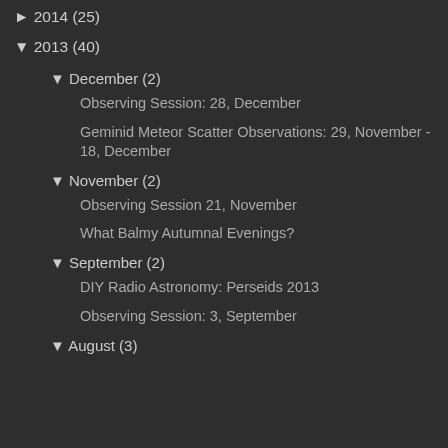► 2014 (25)
▼ 2013 (40)
▼ December (2)
Observing Session: 28, December
Geminid Meteor Scatter Observations: 29, November - 18, December
▼ November (2)
Observing Session 21, November
What Balmy Autumnal Evenings?
▼ September (2)
DIY Radio Astronomy: Perseids 2013
Observing Session: 3, September
▼ August (3)